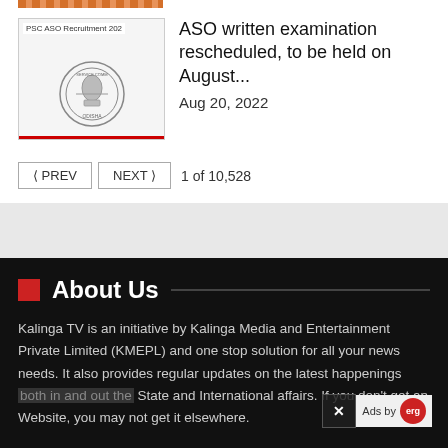[Figure (other): Orange striped decorative bar at top]
[Figure (photo): PSC ASO Recruitment 2022 thumbnail with government seal logo]
ASO written examination rescheduled, to be held on August...
Aug 20, 2022
< PREV   NEXT >   1 of 10,528
About Us
Kalinga TV is an initiative by Kalinga Media and Entertainment Private Limited (KMEPL) and one stop solution for all your news needs. It also provides regular updates on the latest happenings both in and out the State and International affairs. If you don't get an Website, you may not get it elsewhere.
[Figure (other): Social media icons: Facebook, Twitter, Instagram, YouTube]
[Figure (other): Ad overlay with X close button and Ads by ERG logo, and video pause/progress bar]